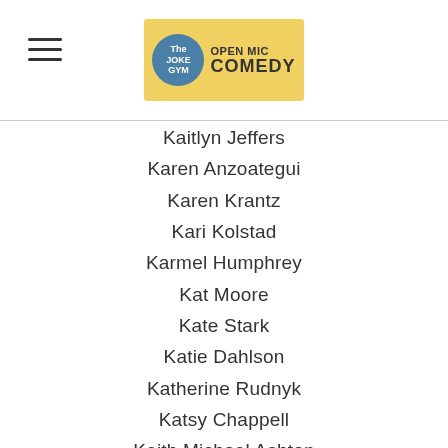The Joke Gym Open Mic Comedy
Kaitlyn Jeffers
Karen Anzoategui
Karen Krantz
Kari Kolstad
Karmel Humphrey
Kat Moore
Kate Stark
Katie Dahlson
Katherine Rudnyk
Katsy Chappell
Keith Michael Ashton
Kelly Dennis
Kelly Ryan
Ken Edelberg
Kenny Aguilera
Kevin Barry
Kid Philly